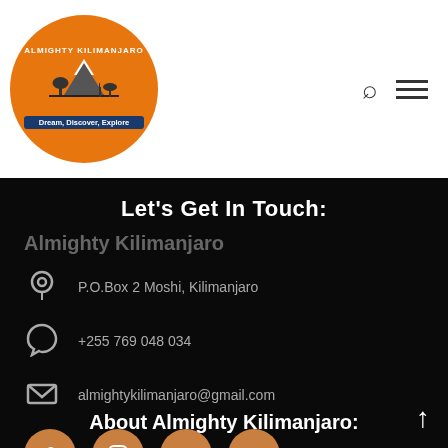[Figure (logo): Almighty Kilimanjaro circular orange logo with mountain silhouette and text 'Dream, Discover, Explore']
Let's Get In Touch:
Almighty Kilimanjaro
P.O.Box 2 Moshi, Kilimanjaro
+255 769 048 034
almightykilimanjaro@gmail.com
[Figure (infographic): Social media icons: Facebook, Instagram, LinkedIn, TripAdvisor — in orange circles]
About Almighty Kilimanjaro: